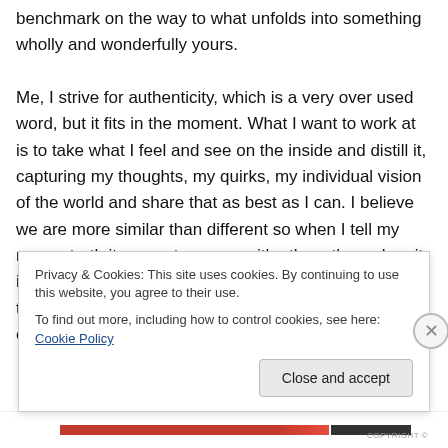benchmark on the way to what unfolds into something wholly and wonderfully yours.

Me, I strive for authenticity, which is a very over used word, but it fits in the moment. What I want to work at is to take what I feel and see on the inside and distill it, capturing my thoughts, my quirks, my individual vision of the world and share that as best as I can. I believe we are more similar than different so when I tell my messy truth it resonates more with others than when it is manicured and manipulated. Hopefully my messy truth opens a door to others embracing theirs, maybe even normalizing it
Privacy & Cookies: This site uses cookies. By continuing to use this website, you agree to their use.
To find out more, including how to control cookies, see here: Cookie Policy
Close and accept